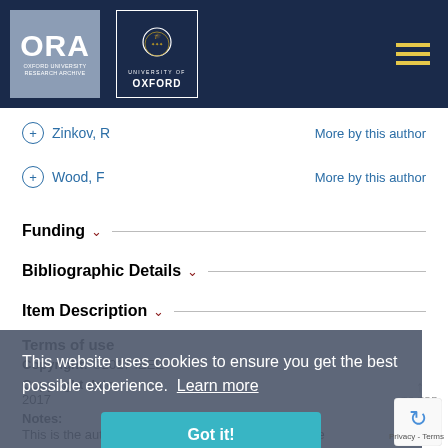[Figure (logo): ORA Oxford University Research Archive logo and University of Oxford shield logo on dark navy header bar with hamburger menu icon]
+ Zinkov, R   More by this author
+ Wood, F   More by this author
Funding
Bibliographic Details
Item Description
Terms of use
Copyright: ©2017 IEEE
Copyright date: 2017
Notes: This is the author accepted manuscript following pee review of the article. The final version is available...
This website uses cookies to ensure you get the best possible experience. Learn more
Got it!